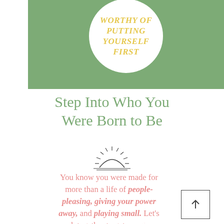[Figure (illustration): Green banner with white circle containing italic bold gold text: WORTHY OF PUTTING YOURSELF FIRST]
Step Into Who You Were Born to Be
[Figure (illustration): Simple line drawing of a rising sun with rays]
You know you were made for more than a life of people-pleasing, giving your power away, and playing small. Let's work together to get you [...] to your soul, connected w[ith] your intuition, and magnetic to